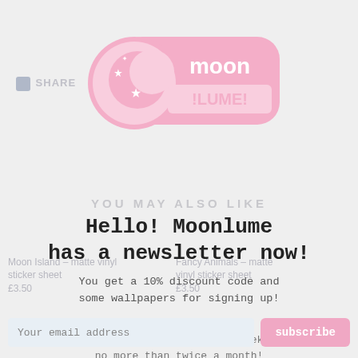[Figure (logo): Moonlume logo: pink rounded rectangle badge with 'moon!LUME!' text in white, with a pink circle containing a crescent moon and stars on the left side]
Hello! Moonlume has a newsletter now!
You get a 10% discount code and some wallpapers for signing up!
news • discounts
progress videos • sneak peeks
no more than twice a month!
🌙 🌟☆: * . * :☆🌟🌙
Your email address
subscribe